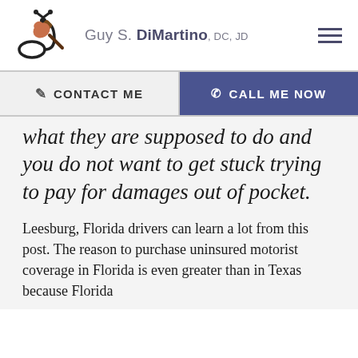Guy S. DiMartino, DC, JD
CONTACT ME
CALL ME NOW
what they are supposed to do and you do not want to get stuck trying to pay for damages out of pocket.
Leesburg, Florida drivers can learn a lot from this post. The reason to purchase uninsured motorist coverage in Florida is even greater than in Texas because Florida